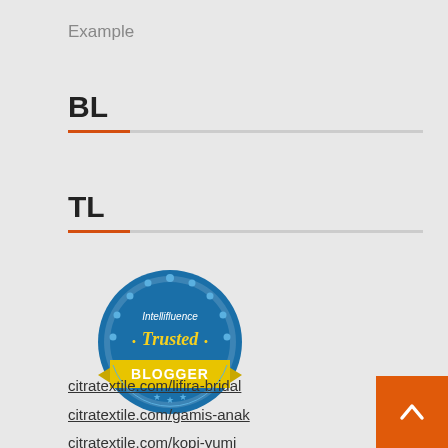Example
BL
TL
[Figure (logo): Intellifluence Trusted Blogger badge — circular blue badge with gear/wreath design, yellow ribbon banner reading 'BLOGGER', text 'Intellifluence' and '· Trusted ·' in yellow script]
citratextile.com/lifira-bridal
citratextile.com/gamis-anak
citratextile.com/kopi-yumi
citratextile.com/kaos-viral